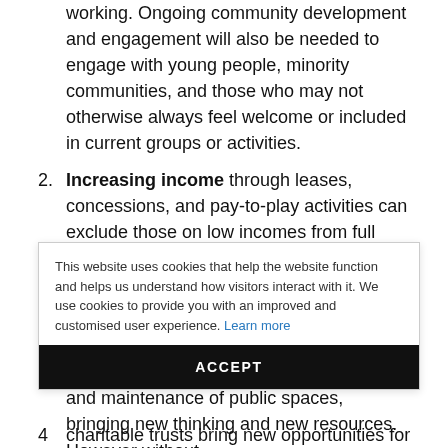working. Ongoing community development and engagement will also be needed to engage with young people, minority communities, and those who may not otherwise always feel welcome or included in current groups or activities.
Increasing income through leases, concessions, and pay-to-play activities can exclude those on low incomes from full participation and risks commercialising some our last remaining truly free and democratic spaces.
New partnerships widen the range of stakeholders involved in the management and maintenance of public spaces, bringing new thinking and new resources. However without
This website uses cookies that help the website function and helps us understand how visitors interact with it. We use cookies to provide you with an improved and customised user experience. Learn more
charitable trusts bring new opportunities for